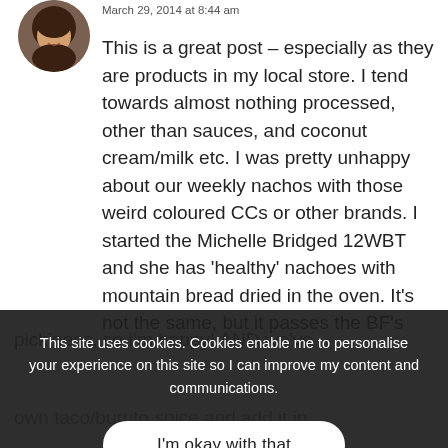March 29, 2014 at 8:44 am
This is a great post – especially as they are products in my local store. I tend towards almost nothing processed, other than sauces, and coconut cream/milk etc. I was pretty unhappy about our weekly nachos with those weird coloured CCs or other brands. I started the Michelle Bridged 12WBT and she has 'healthy' nachoes with mountain bread dried in the oven. It's not the same, but it passes the BF's pickiness, so I'm happy! AND we've… own taco/burrito spice and add it in. …partial to the sweets! But I know they aren't good for me, and try to keep it on the 'better' …
This site uses cookies. Cookies enable me to personalise your experience on this site so I can improve my content and communications.
I'm okay with that